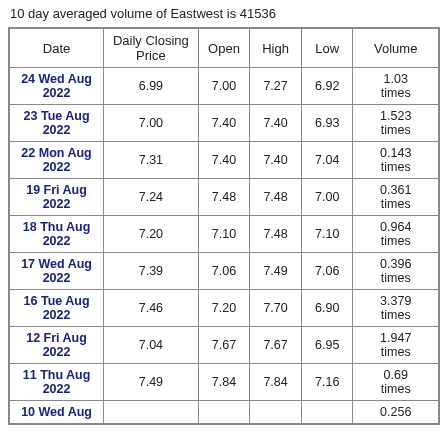10 day averaged volume of Eastwest is 41536
| Date | Daily Closing Price | Open | High | Low | Volume |
| --- | --- | --- | --- | --- | --- |
| 24 Wed Aug 2022 | 6.99 | 7.00 | 7.27 | 6.92 | 1.03 times |
| 23 Tue Aug 2022 | 7.00 | 7.40 | 7.40 | 6.93 | 1.523 times |
| 22 Mon Aug 2022 | 7.31 | 7.40 | 7.40 | 7.04 | 0.143 times |
| 19 Fri Aug 2022 | 7.24 | 7.48 | 7.48 | 7.00 | 0.361 times |
| 18 Thu Aug 2022 | 7.20 | 7.10 | 7.48 | 7.10 | 0.964 times |
| 17 Wed Aug 2022 | 7.39 | 7.06 | 7.49 | 7.06 | 0.396 times |
| 16 Tue Aug 2022 | 7.46 | 7.20 | 7.70 | 6.90 | 3.379 times |
| 12 Fri Aug 2022 | 7.04 | 7.67 | 7.67 | 6.95 | 1.947 times |
| 11 Thu Aug 2022 | 7.49 | 7.84 | 7.84 | 7.16 | 0.69 times |
| 10 Wed Aug ... |  |  |  |  | 0.256 |